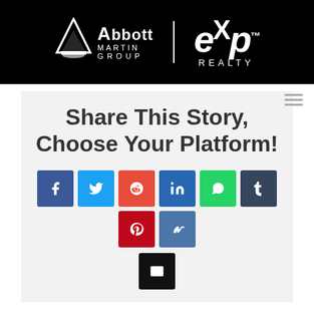[Figure (logo): Abbott Martin Group eXp Realty logo on black background]
Share This Story, Choose Your Platform!
[Figure (infographic): Social sharing buttons: Facebook, Twitter, Reddit, LinkedIn, WhatsApp, Tumblr, Pinterest, VK, Email]
About the Author: Nathan Abbott